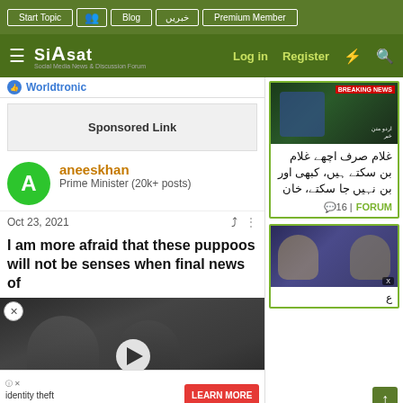Siasat.pk — Social Media News & Discussion Forum — Top navigation: Start Topic, Blog, خبریں, Premium Member, Log in, Register
Worldtronic
Sponsored Link
aneeskhan
Prime Minister (20k+ posts)
Oct 23, 2021
I am more afraid that these puppoos will not be senses when final news of
[Figure (screenshot): Video thumbnail showing Imran Khan with military officials, with a play button overlay. Caption: Pakistan's Prime Minister Imran Khan has urged Facebook's Mark Zuckerberg to ban all Islamophobic content on the site.]
ken on
identity theft
hopping online
[Figure (screenshot): Sidebar news card with breaking news image (Nawaz Sharif at podium with green breaking news banner), followed by Urdu text: غلام صرف اچھے غلام بن سکتے ہیں، کبھی اور بن نہیں جا سکتے، خان. Comment count: 16 | FORUM]
[Figure (screenshot): Second sidebar news card showing two men in a TV studio debate, with Urdu text partially visible]